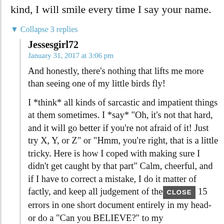kind, I will smile every time I say your name.
Collapse 3 replies
Jessesgirl72
January 31, 2017 at 3:06 pm
And honestly, there’s nothing that lifts me more than seeing one of my little birds fly!
I *think* all kinds of sarcastic and impatient things at them sometimes. I *say* “Oh, it’s not that hard, and it will go better if you’re not afraid of it! Just try X, Y, or Z” or “Hmm, you’re right, that is a little tricky. Here is how I coped with making sure I didn’t get caught by that part” Calm, cheerful, and if I have to correct a mistake, I do it matter of factly, and keep all judgement of the 15 errors in one short document entirely in my head- or do a “Can you BELIEVE?” to my